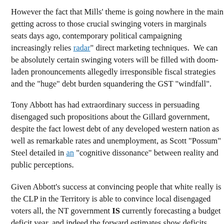However the fact that Mills' theme is going nowhere in the main getting across to those crucial swinging voters in marginals seats days ago, contemporary political campaigning increasingly relies radar" direct marketing techniques. We can be absolutely certain swinging voters will be filled with doom-laden pronouncements allegedly irresponsible fiscal strategies and the "huge" debt burden squandering the GST "windfall".
Tony Abbott has had extraordinary success in persuading disengaged such propositions about the Gillard government, despite the fact lowest debt of any developed western nation as well as remarkable rates and unemployment, as Scott "Possum" Steel detailed in an "cognitive dissonance" between reality and public perceptions.
Given Abbott's success at convincing people that white really is the CLP in the Territory is able to convince local disengaged voters all, the NT government IS currently forecasting a budget deficit year, and indeed the forward estimates show deficits continuing